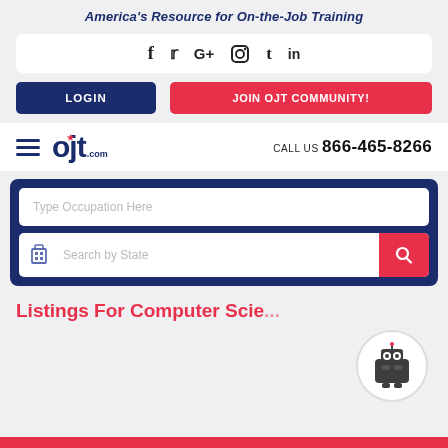America's Resource for On-the-Job Training
[Figure (screenshot): Social media icons bar: Facebook, Twitter, Google+, Instagram, Tumblr, LinkedIn]
[Figure (other): LOGIN button (dark navy) and JOIN OJT COMMUNITY! button (red)]
[Figure (logo): OJT.com logo with hamburger menu and CALL US 866-465-8266]
[Figure (screenshot): Search box: Type Occupation Here text field, Search by State field with building icon, red search button]
Listings For Computer Scie...
[Figure (illustration): Robot mascot icon in white circle]
[Figure (other): Red partial bar at bottom of page]